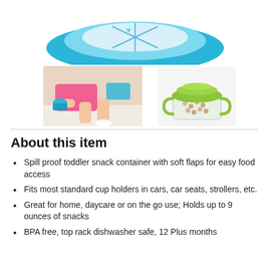[Figure (photo): Blue snack cup / container with soft flaps lid, viewed from above, partially cropped at top of page]
[Figure (photo): Child lying on floor reaching toward a blue snack cup container]
[Figure (photo): Green lidded snack cup with handles containing small round puffed snacks]
About this item
Spill proof toddler snack container with soft flaps for easy food access
Fits most standard cup holders in cars, car seats, strollers, etc.
Great for home, daycare or on the go use; Holds up to 9 ounces of snacks
BPA free, top rack dishwasher safe, 12 Plus months